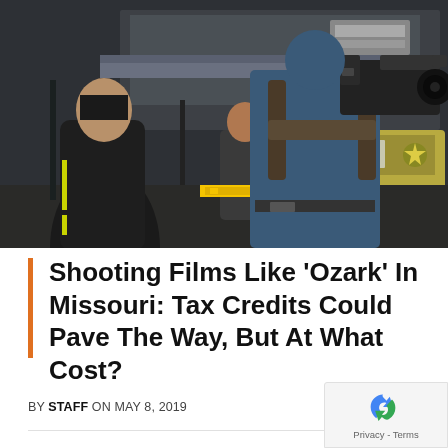[Figure (photo): Film crew on location: a cameraman with a large cinema camera on his shoulder filmed from behind, facing a man in a jacket on the left. In the background a sheriff's deputy and police vehicles are visible in a parking lot setting. The scene has a dark, moody color grade.]
Shooting Films Like 'Ozark' In Missouri: Tax Credits Could Pave The Way, But At What Cost?
BY STAFF ON MAY 8, 2019